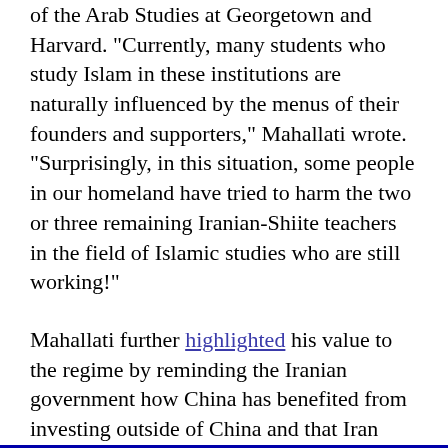of the Arab Studies at Georgetown and Harvard. "Currently, many students who study Islam in these institutions are naturally influenced by the menus of their founders and supporters," Mahallati wrote. "Surprisingly, in this situation, some people in our homeland have tried to harm the two or three remaining Iranian-Shiite teachers in the field of Islamic studies who are still working!"
Mahallati further highlighted his value to the regime by reminding the Iranian government how China has benefited from investing outside of China and that Iran should recognize this and do the same. He concludes that "it is still surprising that some are trying to cut the relationship of